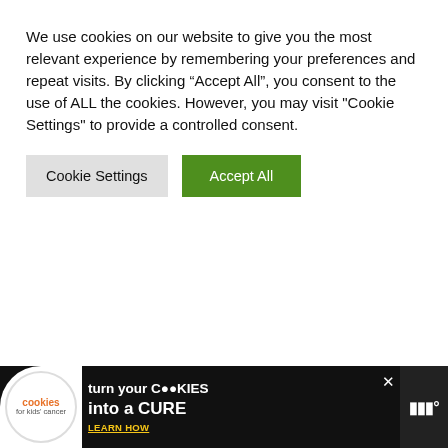We use cookies on our website to give you the most relevant experience by remembering your preferences and repeat visits. By clicking “Accept All”, you consent to the use of ALL the cookies. However, you may visit "Cookie Settings" to provide a controlled consent.
Cookie Settings   Accept All
after a person, but this has to be one of the saddest and most poignant ones.
Thanks as always for dropping by and commenting.
[Figure (other): WHAT'S NEXT arrow widget with thumbnail image and text 'What Percent of Your Max...']
[Figure (other): Advertisement banner: 'cookies for kids cancer - turn your COOKIES into a CURE LEARN HOW' with close button and logo on right]